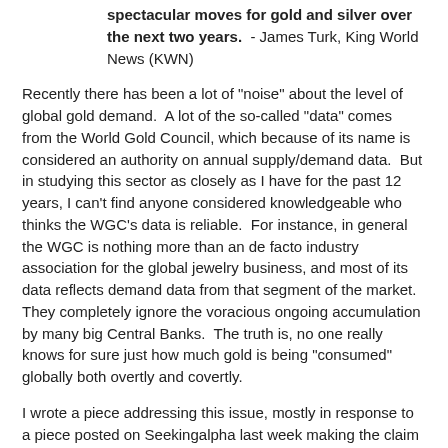spectacular moves for gold and silver over the next two years.  - James Turk, King World News (KWN)
Recently there has been a lot of "noise" about the level of global gold demand.  A lot of the so-called "data" comes from the World Gold Council, which because of its name is considered an authority on annual supply/demand data.  But in studying this sector as closely as I have for the past 12 years, I can't find anyone considered knowledgeable who thinks the WGC's data is reliable.  For instance, in general the WGC is nothing more than an de facto industry association for the global jewelry business, and most of its data reflects demand data from that segment of the market.  They completely ignore the voracious ongoing accumulation by many big Central Banks.  The truth is, no one really knows for sure just how much gold is being "consumed" globally both overtly and covertly.
I wrote a piece addressing this issue, mostly in response to a piece posted on Seekingalpha last week making the claim that lowered gold demand would lead to lower gold prices.  The article relied heavily on source links that referenced the